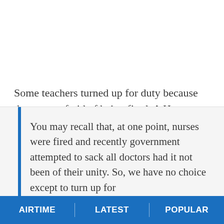Some teachers turned up for duty because they were afraid of being fired. A Harare teacher who spoke to NewZimbabwe.com on condition of anonymity said:
You may recall that, at one point, nurses were fired and recently government attempted to sack all doctors had it not been of their unity. So, we have no choice except to turn up for
AIRTIME   LATEST   POPULAR